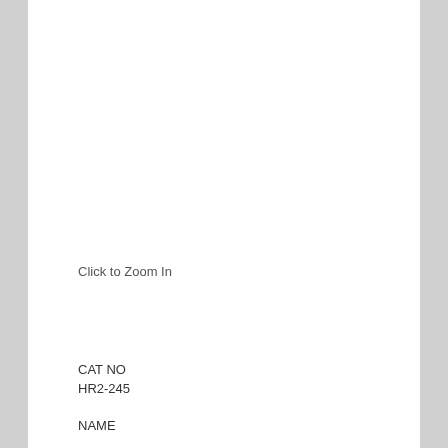Click to Zoom In
CAT NO
HR2-245
NAME